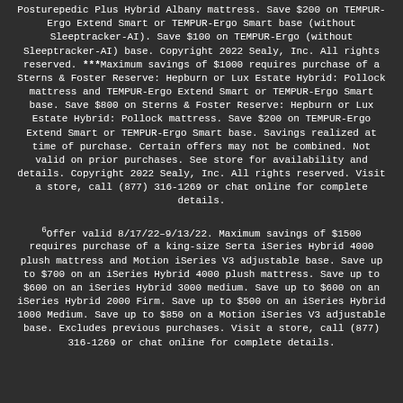Posturepedic Plus Hybrid Albany mattress. Save $200 on TEMPUR-Ergo Extend Smart or TEMPUR-Ergo Smart base (without Sleeptracker-AI). Save $100 on TEMPUR-Ergo (without Sleeptracker-AI) base. Copyright 2022 Sealy, Inc. All rights reserved. ***Maximum savings of $1000 requires purchase of a Sterns & Foster Reserve: Hepburn or Lux Estate Hybrid: Pollock mattress and TEMPUR-Ergo Extend Smart or TEMPUR-Ergo Smart base. Save $800 on Sterns & Foster Reserve: Hepburn or Lux Estate Hybrid: Pollock mattress. Save $200 on TEMPUR-Ergo Extend Smart or TEMPUR-Ergo Smart base. Savings realized at time of purchase. Certain offers may not be combined. Not valid on prior purchases. See store for availability and details. Copyright 2022 Sealy, Inc. All rights reserved. Visit a store, call (877) 316-1269 or chat online for complete details.
6Offer valid 8/17/22–9/13/22. Maximum savings of $1500 requires purchase of a king-size Serta iSeries Hybrid 4000 plush mattress and Motion iSeries V3 adjustable base. Save up to $700 on an iSeries Hybrid 4000 plush mattress. Save up to $600 on an iSeries Hybrid 3000 medium. Save up to $600 on an iSeries Hybrid 2000 Firm. Save up to $500 on an iSeries Hybrid 1000 Medium. Save up to $850 on a Motion iSeries V3 adjustable base. Excludes previous purchases. Visit a store, call (877) 316-1269 or chat online for complete details.